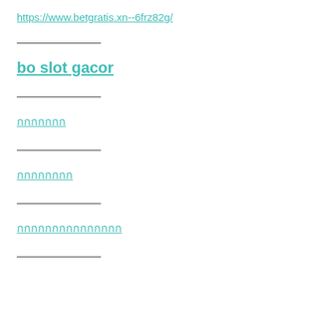https://www.betgratis.xn--6frz82g/
bo slot gacor
กกกกกกก
กกกกกกกก
กกกกกกกกกกกกกกก